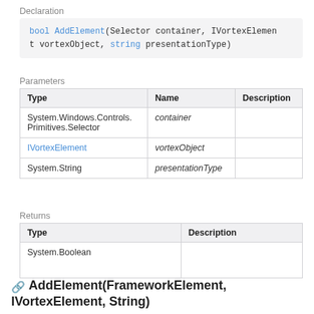Declaration
bool AddElement(Selector container, IVortexElement vortexObject, string presentationType)
Parameters
| Type | Name | Description |
| --- | --- | --- |
| System.Windows.Controls.Primitives.Selector | container |  |
| IVortexElement | vortexObject |  |
| System.String | presentationType |  |
Returns
| Type | Description |
| --- | --- |
| System.Boolean |  |
AddElement(FrameworkElement, IVortexElement, String)